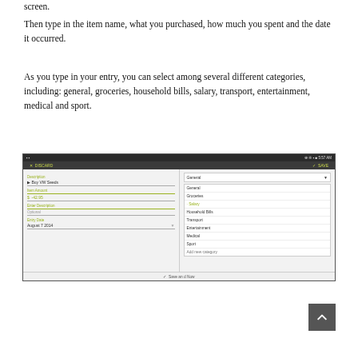screen.
Then type in the item name, what you purchased, how much you spent and the date it occurred.
As you type in your entry, you can select among several different categories, including: general, groceries, household bills, salary, transport, entertainment, medical and sport.
[Figure (screenshot): Android app screenshot showing an expense entry form on the left with fields for description (Buy VW Seeds), item amount (4-42.95), and date (August 7 2014), and a category dropdown on the right showing options: General, General, Groceries, Salary, Household Bills, Transport, Entertainment, Medical, Sport, Add new category. Status bar shows 5:57 AM. Toolbar shows DISCARD and SAVE options.]
✓ Save an d Now